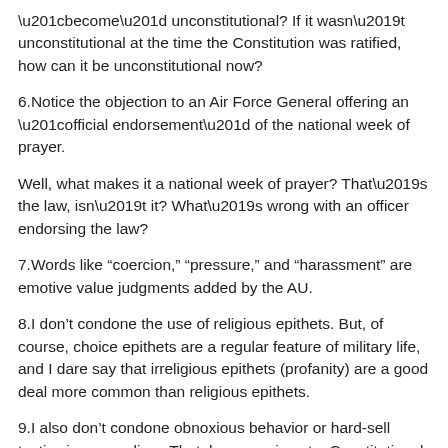“become” unconstitutional? If it wasn’t unconstitutional at the time the Constitution was ratified, how can it be unconstitutional now?
6.Notice the objection to an Air Force General offering an “official endorsement” of the national week of prayer.
Well, what makes it a national week of prayer? That’s the law, isn’t it? What’s wrong with an officer endorsing the law?
7.Words like “coercion,” “pressure,” and “harassment” are emotive value judgments added by the AU.
8.I don’t condone the use of religious epithets. But, of course, choice epithets are a regular feature of military life, and I dare say that irreligious epithets (profanity) are a good deal more common than religious epithets.
9.I also don’t condone obnoxious behavior or hard-sell tactics in evangelism. That, however, is not a Constitutional issue.